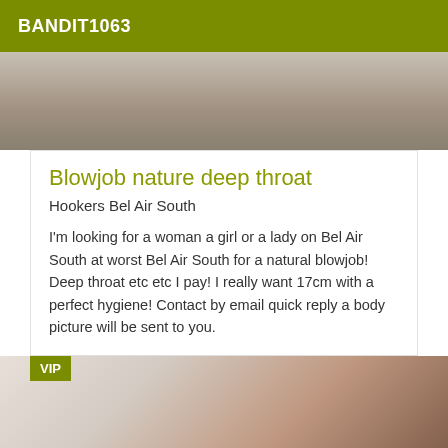BANDIT1063
[Figure (photo): Top photo area showing partial image, muted tones]
Blowjob nature deep throat
Hookers Bel Air South
I'm looking for a woman a girl or a lady on Bel Air South at worst Bel Air South for a natural blowjob! Deep throat etc etc I pay! I really want 17cm with a perfect hygiene! Contact by email quick reply a body picture will be sent to you.
[Figure (photo): Bottom VIP photo showing hands with pink plastic bag]